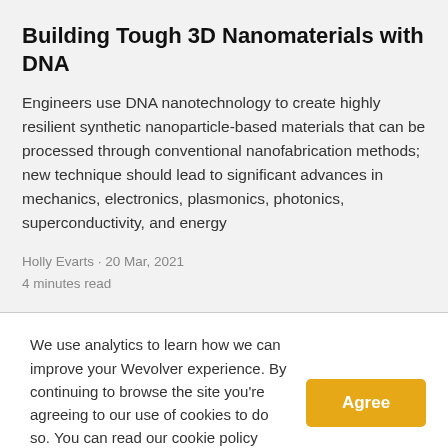Building Tough 3D Nanomaterials with DNA
Engineers use DNA nanotechnology to create highly resilient synthetic nanoparticle-based materials that can be processed through conventional nanofabrication methods; new technique should lead to significant advances in mechanics, electronics, plasmonics, photonics, superconductivity, and energy
Holly Evarts · 20 Mar, 2021
4 minutes read
We use analytics to learn how we can improve your Wevolver experience. By continuing to browse the site you're agreeing to our use of cookies to do so. You can read our cookie policy here.